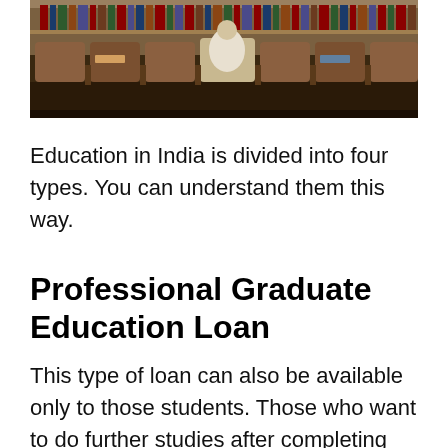[Figure (photo): Photograph of a lecture hall with wooden theater-style seats and a person in white sitting and reading, with books on the surrounding seats, bookshelves visible in the background.]
Education in India is divided into four types. You can understand them this way.
Professional Graduate Education Loan
This type of loan can also be available only to those students. Those who want to do further studies after completing their graduation.